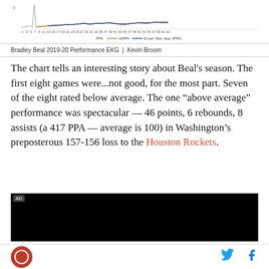[Figure (continuous-plot): Bradley Beal 2019-20 Performance EKG chart showing PPA (Points Per Attempt equivalent) across games, with an orange rolling average line and a blue 10-game moving average line. A spike visible early in the season.]
Bradley Beal 2019-20 Performance EKG | Kevin Broom
The chart tells an interesting story about Beal's season. The first eight games were...not good, for the most part. Seven of the eight rated below average. The one “above average” performance was spectacular — 46 points, 6 rebounds, 8 assists (a 417 PPA — average is 100) in Washington’s preposterous 157-156 loss to the Houston Rockets.
[Figure (other): Advertisement block (black rectangle with AD label)]
Site logo | Twitter icon | Facebook icon